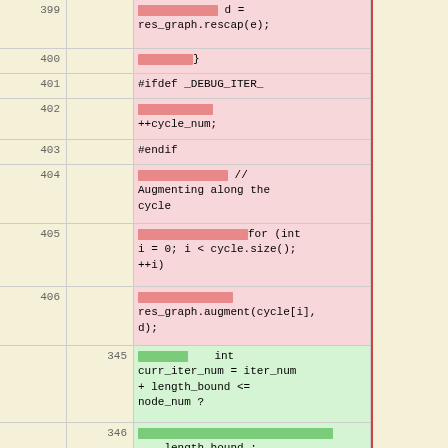| old | new | code |
| --- | --- | --- |
| 399 |  | d = res_graph.rescap(e); |
| 400 |  | } |
| 401 |  | #ifdef _DEBUG_ITER_ |
| 402 |  | ++cycle_num; |
| 403 |  | #endif |
| 404 |  | // Augmenting along the cycle |
| 405 |  | for (int i = 0; i < cycle.size(); ++i) |
| 406 |  | res_graph.augment(cycle[i], d); |
|  | 345 | int curr_iter_num = iter_num + length_bound <= node_num ? |
|  | 346 | length_bound : node_num - iter_num; |
|  | 347 | #endif |
|  | 348 | iter_num += curr_iter_num; |
|  | 349 | int real_iter_num = curr_iter_num; |
|  | 350 | for (int i = 0; i < curr_iter_num; ++i) { |
|  | 351 | if (bf.processNextWeakRound()) { |
|  | 352 |  |